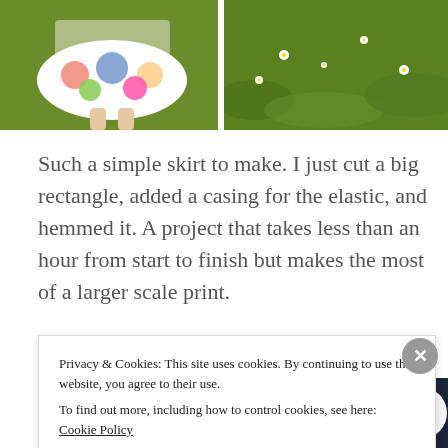[Figure (photo): Two side-by-side photos: left shows a child wearing a colorful printed skirt standing on grass, right shows green grass with small white flowers (daisies).]
Such a simple skirt to make. I just cut a big rectangle, added a casing for the elastic, and hemmed it. A project that takes less than an hour from start to finish but makes the most of a larger scale print.
[Figure (screenshot): Dark navy survey banner with a pink 'Start a survey' button and a circular Crew Social logo on the right.]
Privacy & Cookies: This site uses cookies. By continuing to use this website, you agree to their use.
To find out more, including how to control cookies, see here: Cookie Policy
Close and accept